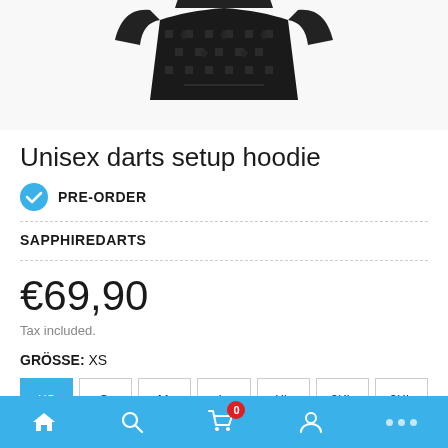[Figure (photo): Partial view of a black unisex darts setup hoodie with grey dart pattern print, showing the upper portion of the garment]
Unisex darts setup hoodie
PRE-ORDER
SAPPHIREDARTS
€69,90
Tax included.
GRÖSSE: XS
XS  S.  M.  L.  XL  2XL  3XL
Home Search Cart Account ...